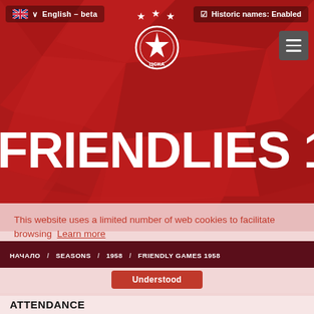English - beta | Historic names: Enabled
[Figure (logo): CSKA Sofia football club logo with star emblem and Cyrillic text ЦСКА]
FRIENDLIES 1958
This website uses a limited number of web cookies to facilitate browsing  Learn more
НАЧАЛО / SEASONS / 1958 / FRIENDLY GAMES 1958
Understood
ATTENDANCE